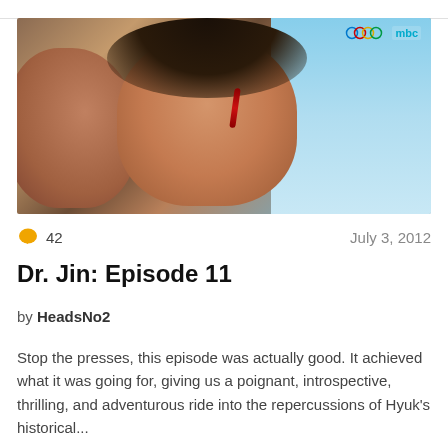[Figure (photo): Still from Korean drama Dr. Jin Episode 11, showing a male actor with blood on his cheek looking forward, another person partially visible on the left, MBC network logo with Olympic rings in the top right corner of the image.]
42   July 3, 2012
Dr. Jin: Episode 11
by HeadsNo2
Stop the presses, this episode was actually good. It achieved what it was going for, giving us a poignant, introspective, thrilling, and adventurous ride into the repercussions of Hyuk's historical...